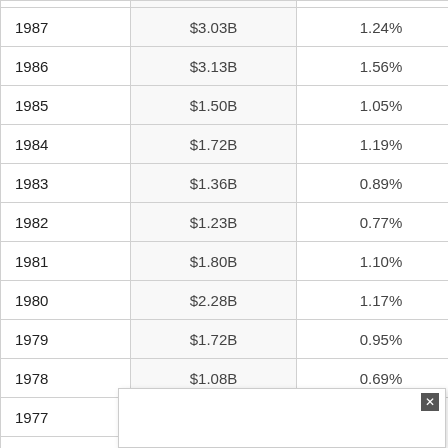| Year | Amount | Percentage |
| --- | --- | --- |
| 1987 | $3.03B | 1.24% |
| 1986 | $3.13B | 1.56% |
| 1985 | $1.50B | 1.05% |
| 1984 | $1.72B | 1.19% |
| 1983 | $1.36B | 0.89% |
| 1982 | $1.23B | 0.77% |
| 1981 | $1.80B | 1.10% |
| 1980 | $2.28B | 1.17% |
| 1979 | $1.72B | 0.95% |
| 1978 | $1.08B | 0.69% |
| 1977 |  |  |
| 1976 |  |  |